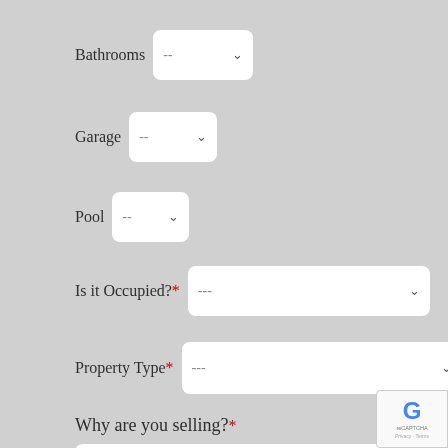Bathrooms -- (dropdown)
Garage -- (dropdown)
Pool -- (dropdown)
Is it Occupied?* -- (dropdown)
Property Type* -- (dropdown)
Why are you selling?*
750 Characters Max
List Any Repairs*
750 Characters Max